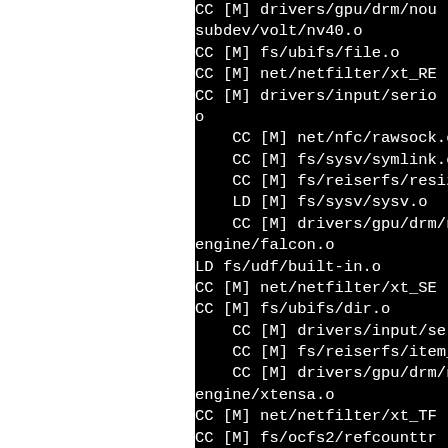CC [M] drivers/gpu/drm/nou subdev/volt/nv40.o
CC [M] fs/ubifs/file.o
CC [M] net/netfilter/xt_RE
CC [M] drivers/input/serio
o
    CC [M] net/nfc/rawsock.o
    CC [M] fs/sysv/symlink.o
    CC [M] fs/reiserfs/resize
    LD [M] fs/sysv/sysv.o
    CC [M] drivers/gpu/drm/nou
engine/falcon.o
LD fs/udf/built-in.o
CC [M] net/netfilter/xt_SE
CC [M] fs/ubifs/dir.o
    CC [M] drivers/input/serio
    CC [M] fs/reiserfs/item_op
    CC [M] drivers/gpu/drm/nou
engine/xtensa.o
CC [M] net/netfilter/xt_TF
CC [M] fs/ocfs2/refcounttr
    CC [M] drivers/input/serio
    CC [M] fs/udf/balloc.o
    CC [M] net/netfilter/xt_